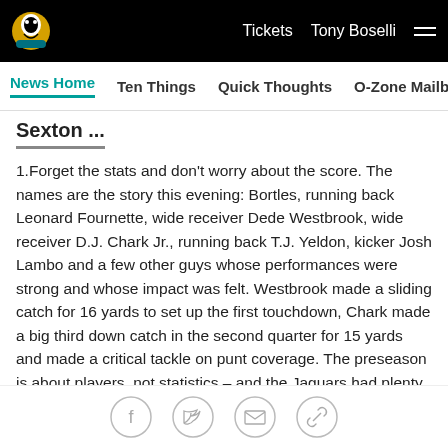Tickets  Tony Boselli  ☰
News Home  Ten Things  Quick Thoughts  O-Zone Mailbag  Ros
Sexton ...
1.Forget the stats and don't worry about the score. The names are the story this evening: Bortles, running back Leonard Fournette, wide receiver Dede Westbrook, wide receiver D.J. Chark Jr., running back T.J. Yeldon, kicker Josh Lambo and a few other guys whose performances were strong and whose impact was felt. Westbrook made a sliding catch for 16 yards to set up the first touchdown, Chark made a big third down catch in the second quarter for 15 yards and made a critical tackle on punt coverage. The preseason is about players, not statistics – and the Jaguars had plenty of
[Figure (other): Social share icons: Facebook, Twitter, Email, Link]